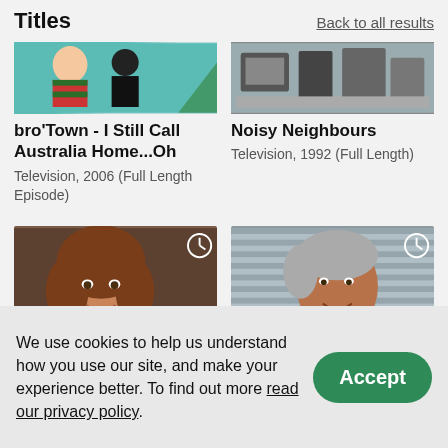Titles
Back to all results
[Figure (screenshot): Thumbnail of bro'Town cartoon with colorful characters on teal background]
bro'Town - I Still Call Australia Home...Oh
Television, 2006 (Full Length Episode)
[Figure (screenshot): Thumbnail of Noisy Neighbours showing electronics/equipment]
Noisy Neighbours
Television, 1992 (Full Length)
[Figure (photo): Photo of a smiling woman with curly brown hair]
[Figure (photo): Photo of an elderly man with grey hair]
We use cookies to help us understand how you use our site, and make your experience better. To find out more read our privacy policy.